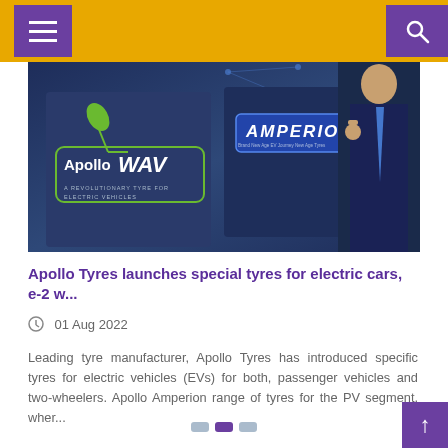[Figure (photo): Photo of Apollo Tyres product display showing Apollo Wav tyre box with green leaf logo and Amperion brand box, with a person in suit giving thumbs up in background]
Apollo Tyres launches special tyres for electric cars, e-2 w...
01 Aug 2022
Leading tyre manufacturer, Apollo Tyres has introduced specific tyres for electric vehicles (EVs) for both, passenger vehicles and two-wheelers. Apollo Amperion range of tyres for the PV segment, wher...
COMPLETE READING